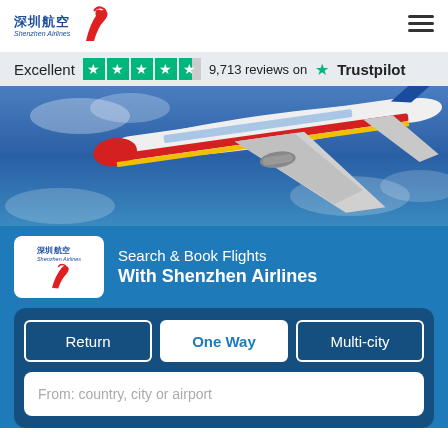[Figure (logo): Shenzhen Airlines logo with Chinese characters 深圳航空 and red phoenix bird icon]
Excellent ★★★★★ 9,713 reviews on ★ Trustpilot
[Figure (photo): Shenzhen Airlines Boeing 737 aircraft flying against a blue sky with clouds]
[Figure (logo): Shenzhen Airlines logo white box with Chinese characters and red phoenix]
Search & Book Flights
With Shenzhen Airlines
Return   One Way   Multi-city
From: country, city or airport